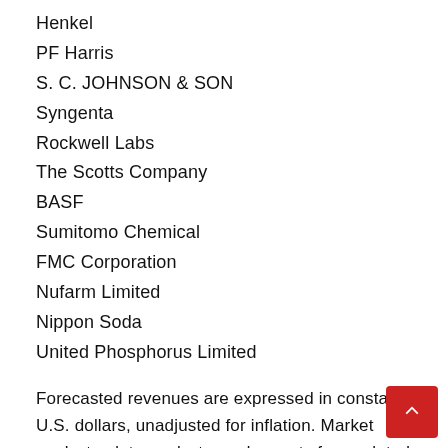Henkel
PF Harris
S. C. JOHNSON & SON
Syngenta
Rockwell Labs
The Scotts Company
BASF
Sumitomo Chemical
FMC Corporation
Nufarm Limited
Nippon Soda
United Phosphorus Limited
Forecasted revenues are expressed in constant U.S. dollars, unadjusted for inflation. Market analysts, data analysts, and experts from related industries